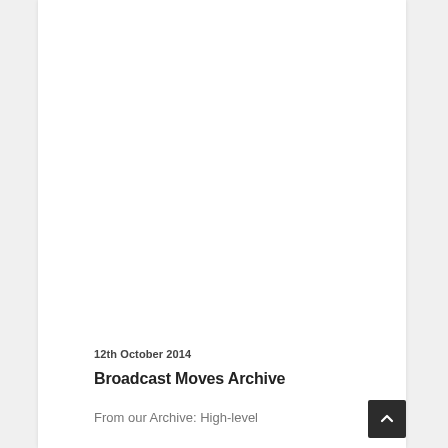12th October 2014
Broadcast Moves Archive
From our Archive: High-level